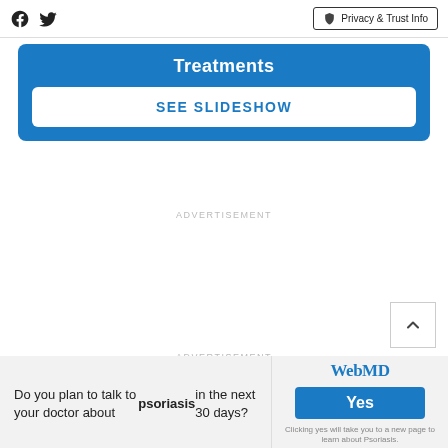Facebook | Twitter | Privacy & Trust Info
Treatments
SEE SLIDESHOW
ADVERTISEMENT
ADVERTISEMENT
Do you plan to talk to your doctor about psoriasis in the next 30 days?
WebMD Yes Clicking yes will take you to a new page to learn about Psoriasis.